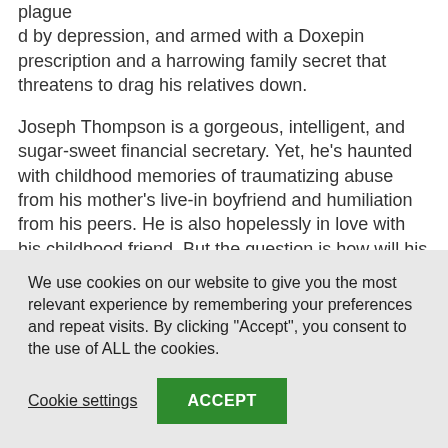plagued by depression, and armed with a Doxepin prescription and a harrowing family secret that threatens to drag his relatives down.
Joseph Thompson is a gorgeous, intelligent, and sugar-sweet financial secretary. Yet, he's haunted with childhood memories of traumatizing abuse from his mother's live-in boyfriend and humiliation from his peers. He is also hopelessly in love with his childhood friend. But the question is how will his friend react when he tells him...?
We use cookies on our website to give you the most relevant experience by remembering your preferences and repeat visits. By clicking "Accept", you consent to the use of ALL the cookies.
Cookie settings
ACCEPT